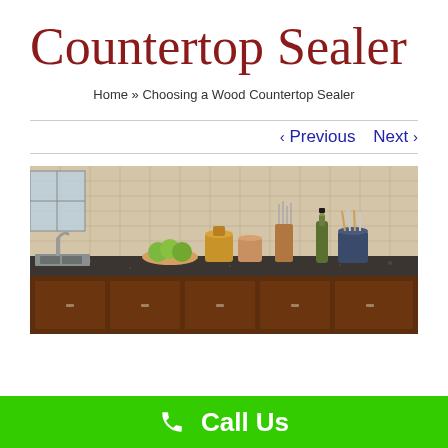Countertop Sealer
Home » Choosing a Wood Countertop Sealer
‹ Previous   Next ›
[Figure (photo): Kitchen countertop scene showing dark granite countertops with kitchen items: a bowl of green apples, ceramic canisters, knife block with knives, wine bottle with olive oil, and a decorative tile backsplash. Dark wood lower cabinets visible below the counters.]
Call Us